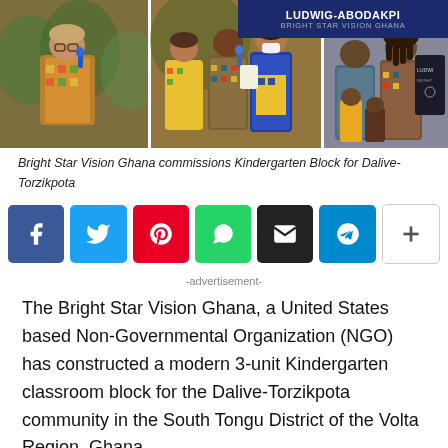[Figure (photo): Three-panel photo strip showing an event at Bright Star Vision Ghana kindergarten block commissioning. Left panel: older person with microphone in traditional African attire. Center panel: group of people speaking including a woman in mask and colorful dress. Right panel: two men and two children near a plaque reading LUDWIG-ABODAKPI BRIGHT STAR VISION GHANA.]
Bright Star Vision Ghana commissions Kindergarten Block for Dalive-Torzikpota
[Figure (infographic): Social media share buttons row: Facebook (blue), Twitter (light blue), Pinterest (red), WhatsApp (green), Email (black), Telegram (blue), More (white with plus sign)]
-advertisement-
The Bright Star Vision Ghana, a United States based Non-Governmental Organization (NGO) has constructed a modern 3-unit Kindergarten classroom block for the Dalive-Torzikpota community in the South Tongu District of the Volta Region, Ghana.